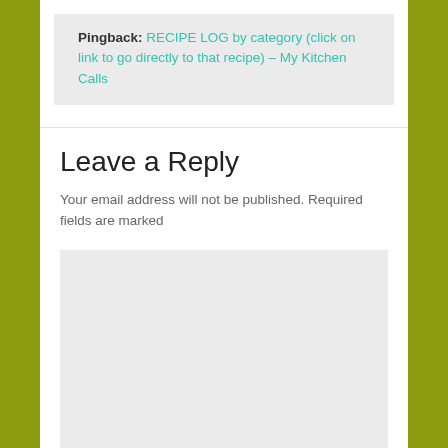Pingback: RECIPE LOG by category (click on link to go directly to that recipe) – My Kitchen Calls
Leave a Reply
Your email address will not be published. Required fields are marked